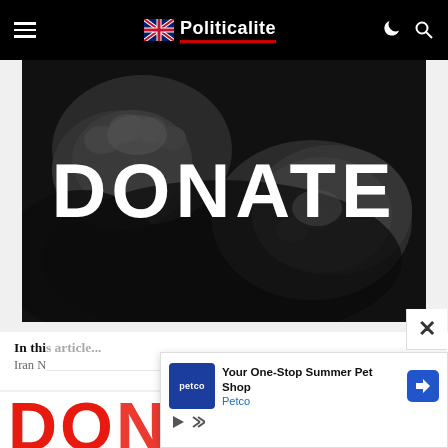Politicalite
[Figure (photo): Black and white photo of two fists bumping/clasping with large white text 'DONATE' overlaid in bold uppercase letters]
In this article...
Iran N...
[Figure (screenshot): Advertisement popup for Petco - 'Your One-Stop Summer Pet Shop' with Petco logo and blue navigation arrow icon. Ad has a close X button.]
DONATE